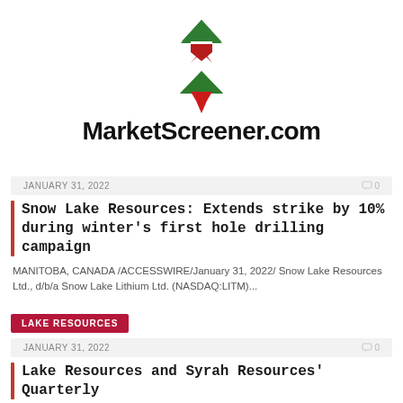[Figure (logo): MarketScreener.com logo with green and red arrow/mountain graphic above the text]
MarketScreener.com
JANUARY 31, 2022    0
Snow Lake Resources: Extends strike by 10% during winter's first hole drilling campaign
MANITOBA, CANADA /ACCESSWIRE/January 31, 2022/ Snow Lake Resources Ltd., d/b/a Snow Lake Lithium Ltd. (NASDAQ:LITM)...
LAKE RESOURCES
JANUARY 31, 2022    0
Lake Resources and Syrah Resources' Quarterly